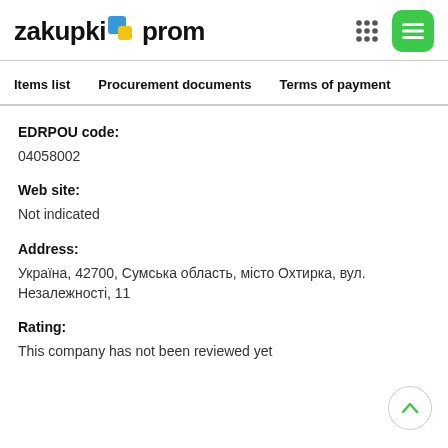[Figure (logo): zakupki.prom logo with blue and yellow square icon, plus grid and menu icons on the right]
Items list   Procurement documents   Terms of payment
EDRPOU code:
04058002
Web site:
Not indicated
Address:
Україна, 42700, Сумська область, місто Охтирка, вул. Незалежності, 11
Rating:
This company has not been reviewed yet